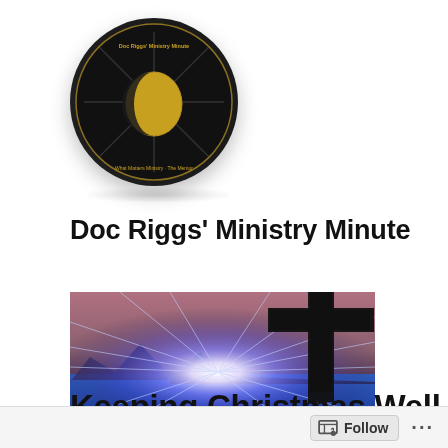[Figure (logo): Circular logo for Doc Riggs' Ministry Minute — dark background with compass/cross design and gold text]
Doc Riggs' Ministry Minute
[Figure (photo): Banner photo showing a Christian cross silhouette against a dramatic sunset/sunrise sky with rays of light and blue/purple hues]
Keeping Christmas Well
Follow ...